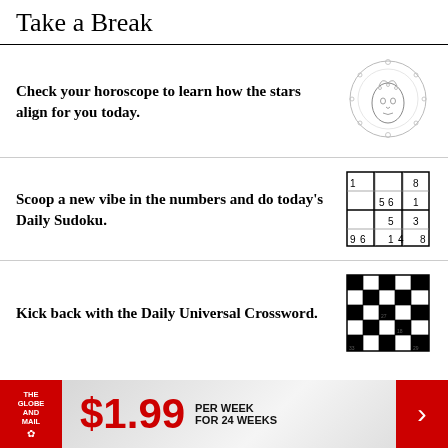Take a Break
Check your horoscope to learn how the stars align for you today.
[Figure (illustration): Circular horoscope/zodiac illustration with a face and decorative elements]
Scoop a new vibe in the numbers and do today's Daily Sudoku.
[Figure (other): Partial sudoku puzzle grid with numbers 1,8,5,6,1,5,3,9,6,1,4,8 visible]
Kick back with the Daily Universal Crossword.
[Figure (other): Partial crossword puzzle grid with black and white squares]
More from The Globe and Mail
[Figure (infographic): Advertisement banner: The Globe and Mail logo, $1.99 PER WEEK FOR 24 WEEKS with red arrow button]